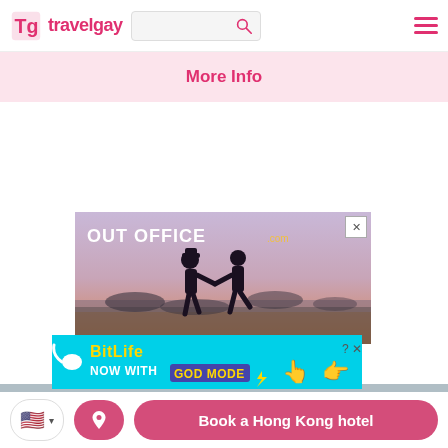travelgay
More Info
[Figure (photo): OUT OFFICE advertisement showing two silhouetted people holding hands at sunset on a beach]
[Figure (photo): BitLife advertisement - NOW WITH GOD MODE]
Book a Hong Kong hotel